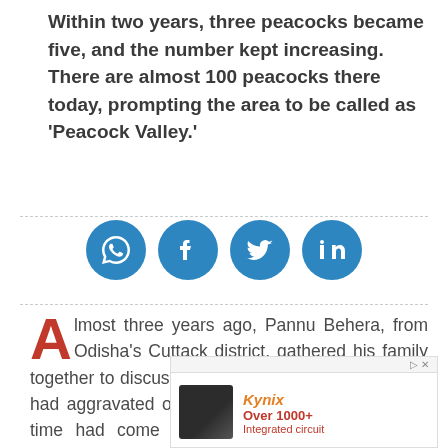Within two years, three peacocks became five, and the number kept increasing. There are almost 100 peacocks there today, prompting the area to be called as 'Peacock Valley.'
[Figure (infographic): Four social media share buttons (WhatsApp, Facebook, Twitter, LinkedIn) displayed as blue circular icons in a horizontal row]
Almost three years ago, Pannu Behera, from Odisha's Cuttack district, gathered his family together to discuss his 'will.' His breathing ailments had aggravated over the years, and he knew the time had come to explain everything in detail before the inevitable happens.
[Figure (infographic): Kynix advertisement banner showing logo, 'Over 1000+ Integrated circuit' text, and a chip image]